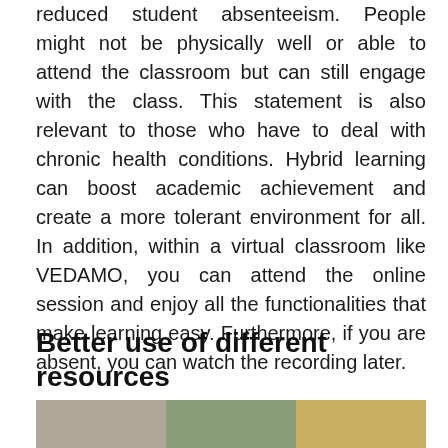reduced student absenteeism. People might not be physically well or able to attend the classroom but can still engage with the class. This statement is also relevant to those who have to deal with chronic health conditions. Hybrid learning can boost academic achievement and create a more tolerant environment for all. In addition, within a virtual classroom like VEDAMO, you can attend the online session and enjoy all the functionalities that make learning easy. Furthermore, if you are absent, you can watch the recording later.
Better use of different resources
[Figure (photo): A strip of three photos at the bottom of the page showing outdoor/nature scenes]